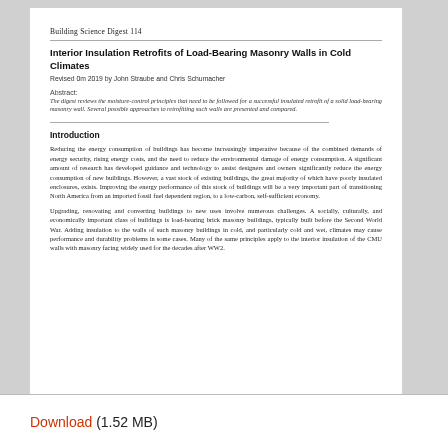Building Science Digest 114
Interior Insulation Retrofits of Load-Bearing Masonry Walls in Cold Climates
Revised 0m 2019 by John Straube and Chris Schumacher
Abstract:
The digest reviews the moisture-control principles that need to be followed for a successful insulated retrofit of a solid load-bearing masonry wall. Several possible approaches to retrofitting such walls are presented and compared.
Introduction
Reducing the energy consumption of buildings has become increasingly imperative because of the combined demands of energy security, rising energy costs, and the need to reduce the environmental damage of energy consumption. A significant amount of research has developed guidance and technology to assist designers and owners significantly reduce the energy consumption of new buildings. However, a vast stock of existing buildings, the great majority of which have poorly insulated enclosures, exists. Improving the energy performance of this stock of buildings will be a very important part of transitioning North America from an imported fossil fuel dependent region, to a low-carbon, self-sufficient economy.
Upgrading, renovating and converting buildings to new uses involve numerous challenges. A socially, culturally, and economically important class of buildings is load-bearing brick masonry buildings, typically built before the Second World War. Adding insulation to the walls of such masonry buildings in cold, and particularly cold and wet, climates may cause performance and durability problems in some cases. Many of the same principles apply to the interior insulation of the CMU walls with masonry facing widely used for the decades after WW2.
Download (1.52 MB)